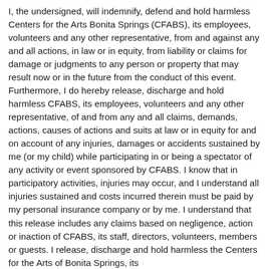I, the undersigned, will indemnify, defend and hold harmless Centers for the Arts Bonita Springs (CFABS), its employees, volunteers and any other representative, from and against any and all actions, in law or in equity, from liability or claims for damage or judgments to any person or property that may result now or in the future from the conduct of this event. Furthermore, I do hereby release, discharge and hold harmless CFABS, its employees, volunteers and any other representative, of and from any and all claims, demands, actions, causes of actions and suits at law or in equity for and on account of any injuries, damages or accidents sustained by me (or my child) while participating in or being a spectator of any activity or event sponsored by CFABS. I know that in participatory activities, injuries may occur, and I understand all injuries sustained and costs incurred therein must be paid by my personal insurance company or by me. I understand that this release includes any claims based on negligence, action or inaction of CFABS, its staff, directors, volunteers, members or guests. I release, discharge and hold harmless the Centers for the Arts of Bonita Springs, its